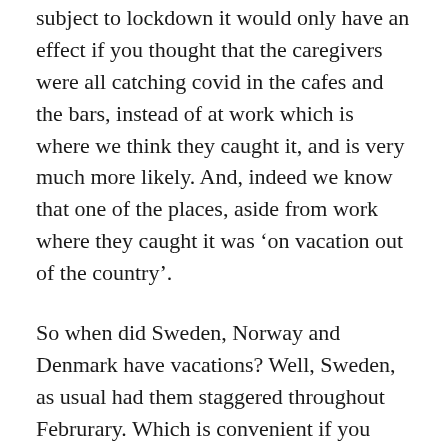subject to lockdown it would only have an effect if you thought that the caregivers were all catching covid in the cafes and the bars, instead of at work which is where we think they caught it, and is very much more likely. And, indeed we know that one of the places, aside from work where they caught it was ‘on vacation out of the country’.
So when did Sweden, Norway and Denmark have vacations? Well, Sweden, as usual had them staggered throughout Februrary. Which is convenient if you want to estimate ‘how likely were you to get covid on vacation’.
Winter break Copenhagen and Göteborg: 10.2.2020 – 14.2.2020